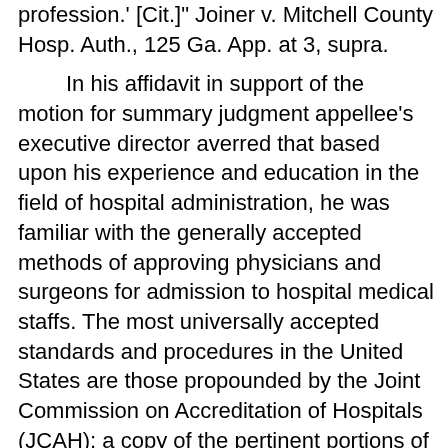profession.' [Cit.]" Joiner v. Mitchell County Hosp. Auth., 125 Ga. App. at 3, supra.

In his affidavit in support of the motion for summary judgment appellee's executive director averred that based upon his experience and education in the field of hospital administration, he was familiar with the generally accepted methods of approving physicians and surgeons for admission to hospital medical staffs. The most universally accepted standards and procedures in the United States are those propounded by the Joint Commission on Accreditation of Hospitals (JCAH); a copy of the pertinent portions of the